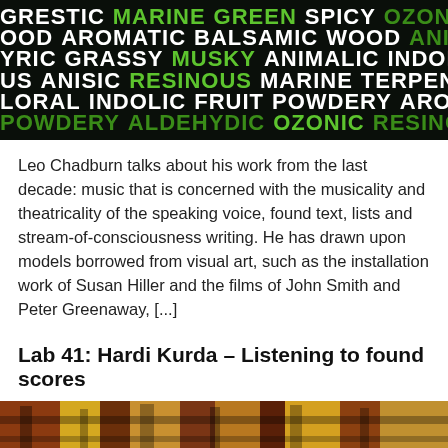[Figure (illustration): Dark black background with words related to scents/aromas displayed in white and green bold text across multiple rows: GRESTIC MARINE GREEN SPICY OZONIC VA / OOD AROMATIC BALSAMIC WOOD ANISIC / YRIC GRASSY MUSKY ANIMALIC INDOLIC / US ANISIC RESINOUS MARINE TERPENIC ZE / LORAL INDOLIC FRUIT POWDERY AROMAT / POWDERY ALDEHYDIC OZONIC RESINOUS]
Leo Chadburn talks about his work from the last decade: music that is concerned with the musicality and theatricality of the speaking voice, found text, lists and stream-of-consciousness writing. He has drawn upon models borrowed from visual art, such as the installation work of Susan Hiller and the films of John Smith and Peter Greenaway, [...]
Lab 41: Hardi Kurda – Listening to found scores
[Figure (photo): Partial view of a colorful textile or rug with geometric patterns in warm tones of brown, red, yellow and black, cropped at the bottom of the page.]